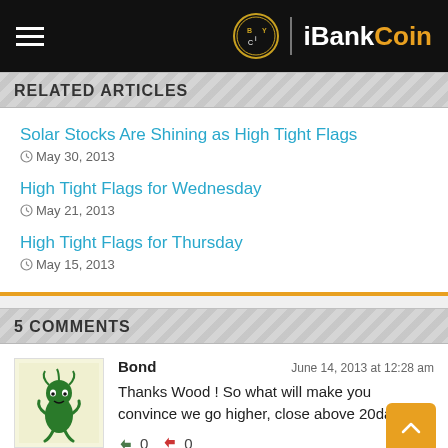iBankCoin
RELATED ARTICLES
Solar Stocks Are Shining as High Tight Flags — May 30, 2013
High Tight Flags for Wednesday — May 21, 2013
High Tight Flags for Thursday — May 15, 2013
5 COMMENTS
Bond — June 14, 2013 at 12:28 am — Thanks Wood ! So what will make you convince we go higher, close above 20day ? — 👍 0  👎 0